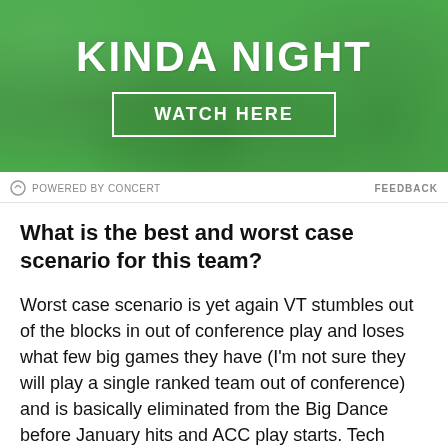[Figure (illustration): Green textured advertisement banner with bold white text 'KINDA NIGHT' and a 'WATCH HERE' button in a white border rectangle]
POWERED BY CONCERT   FEEDBACK
What is the best and worst case scenario for this team?
Worst case scenario is yet again VT stumbles out of the blocks in out of conference play and loses what few big games they have (I'm not sure they will play a single ranked team out of conference) and is basically eliminated from the Big Dance before January hits and ACC play starts. Tech must avoid bad loses and simply TCB – take care of business. With 14 out of conference